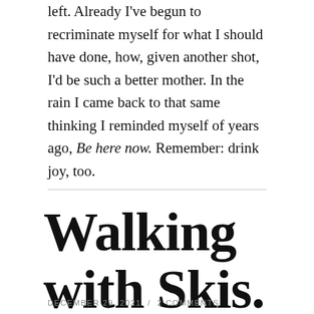left. Already I've begun to recriminate myself for what I should have done, how, given another shot, I'd be such a better mother. In the rain I came back to that same thinking I reminded myself of years ago, Be here now. Remember: drink joy, too.
Walking with Skis.
DECEMBER 29, 2021 / 2 COMMENTS